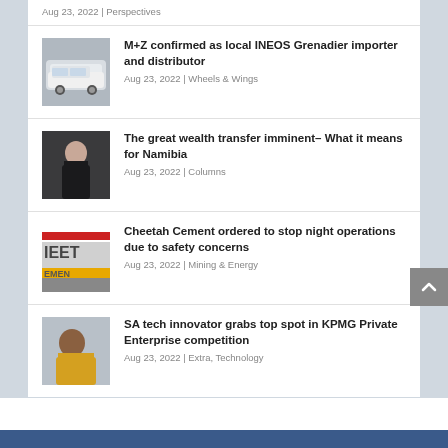Aug 23, 2022 | Perspectives
[Figure (photo): White off-road vehicle (INEOS Grenadier)]
M+Z confirmed as local INEOS Grenadier importer and distributor
Aug 23, 2022 | Wheels & Wings
[Figure (photo): Woman in black clothing, portrait style]
The great wealth transfer imminent– What it means for Namibia
Aug 23, 2022 | Columns
[Figure (logo): Cheetah Cement logo with red/yellow/grey colors]
Cheetah Cement ordered to stop night operations due to safety concerns
Aug 23, 2022 | Mining & Energy
[Figure (photo): Young woman in yellow clothing, portrait]
SA tech innovator grabs top spot in KPMG Private Enterprise competition
Aug 23, 2022 | Extra, Technology